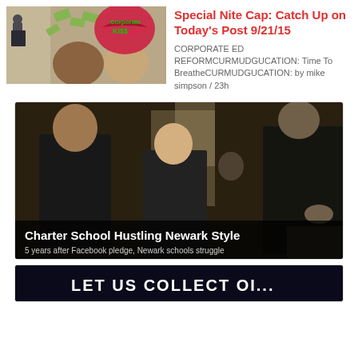[Figure (photo): Meme/collage image showing two men with money falling and a red lips graphic with 'Corporate Ki$$' text overlay]
Special Nite Cap: Catch Up on Today's Post 9/21/15
CORPORATE ED REFORMCURMUDGUCATION: Time To BreatheCURMUDGUCATION: by mike simpson / 23h
[Figure (photo): Photo of three men in suits standing together, with overlay text 'Charter School Hustling Newark Style' and subtitle '5 years after Facebook pledge, Newark schools struggle']
[Figure (photo): Partial view of a dark image at the bottom of the page]